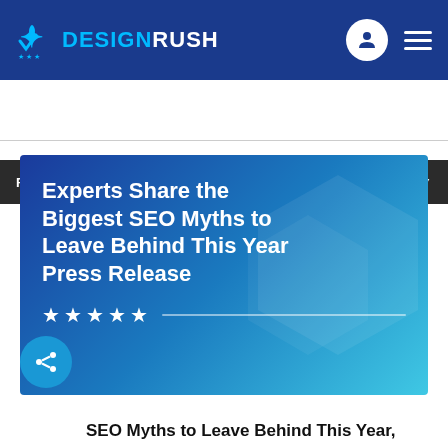DESIGNRUSH
FILTER BY
[Figure (screenshot): Article card with blue gradient background showing title: Experts Share the Biggest SEO Myths to Leave Behind This Year Press Release, with 5 white stars below]
SEO Myths to Leave Behind This Year,